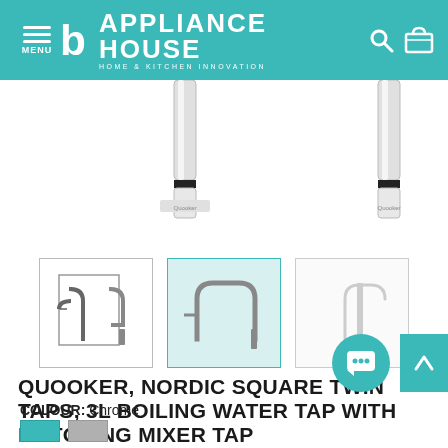MENU | APPLIANCE HOUSE HOME & KITCHEN INNOVATION
[Figure (photo): Product images of Quooker Nordic Square tap in chrome, showing two main views at top and three thumbnail views below]
QUOOKER, NORDIC SQUARE TWIN TAPS, 3L BOILING WATER TAP WITH MATCHING MIXER TAP
COLOUR: Chrome
[Figure (illustration): Teal and grey colour swatch options for the product]